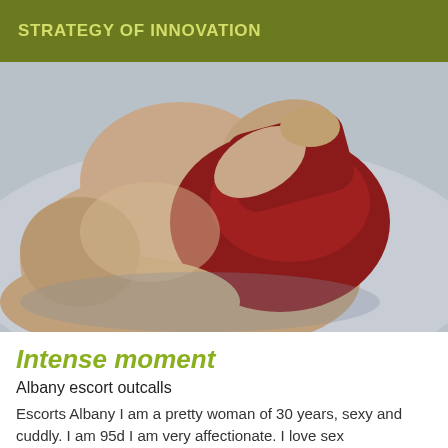STRATEGY OF INNOVATION
[Figure (photo): A person in a red garment lying on a bed, photographed from above]
Intense moment
Albany escort outcalls
Escorts Albany I am a pretty woman of 30 years, sexy and cuddly. I am 95d I am very affectionate. I love sex